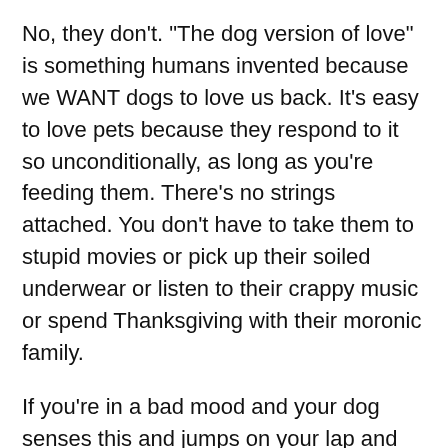No, they don't. “The dog version of love” is something humans invented because we WANT dogs to love us back. It’s easy to love pets because they respond to it so unconditionally, as long as you’re feeding them. There’s no strings attached. You don’t have to take them to stupid movies or pick up their soiled underwear or listen to their crappy music or spend Thanksgiving with their moronic family.
If you’re in a bad mood and your dog senses this and jumps on your lap and licks your face, you feel better and say: “Aww, thanks boy!” It really does cheer you up, but this is all going on in YOUR head, not his. He’s just reacting to your bad vibe and desiring of your affection (or more food).
Let’s say your dogs are running around the yard playing with a ball. A friend calls and asks what you’re